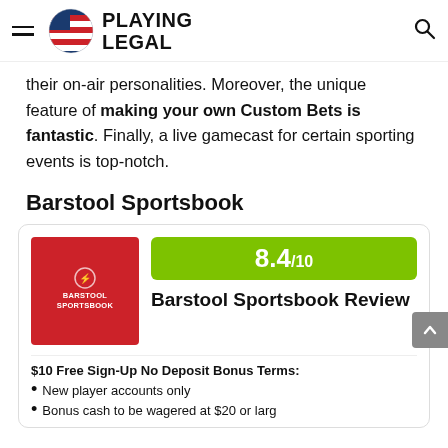PLAYING LEGAL
their on-air personalities. Moreover, the unique feature of making your own Custom Bets is fantastic. Finally, a live gamecast for certain sporting events is top-notch.
Barstool Sportsbook
[Figure (infographic): Barstool Sportsbook review card with red logo, green rating badge showing 8.4/10, and title 'Barstool Sportsbook Review']
$10 Free Sign-Up No Deposit Bonus Terms:
New player accounts only
Bonus cash to be wagered at $20 or larger